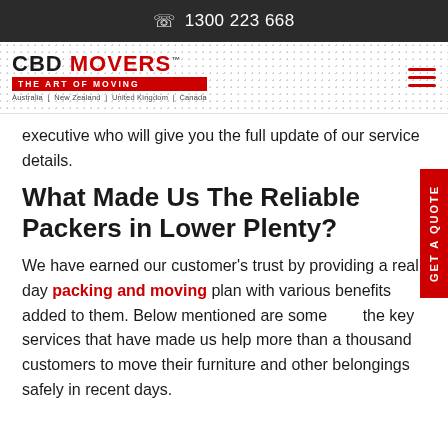1300 223 668
[Figure (logo): CBD Movers logo with tagline 'The Art of Moving' and countries: Australia | New Zealand | United Kingdom | Canada]
executive who will give you the full update of our service details.
What Made Us The Reliable Packers in Lower Plenty?
We have earned our customer's trust by providing a real day packing and moving plan with various benefits added to them. Below mentioned are some of the key services that have made us help more than a thousand customers to move their furniture and other belongings safely in recent days.